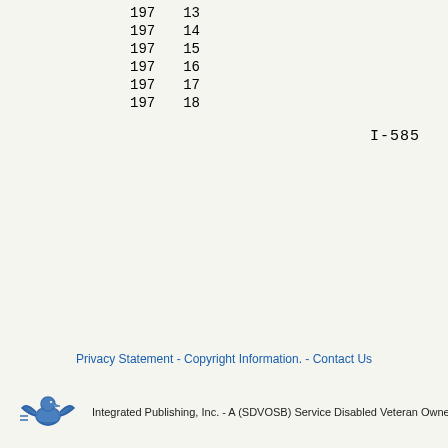| 197 | 13 |
| 197 | 14 |
| 197 | 15 |
| 197 | 16 |
| 197 | 17 |
| 197 | 18 |
I-585
Privacy Statement - Copyright Information. - Contact Us
Integrated Publishing, Inc. - A (SDVOSB) Service Disabled Veteran Owned Small Busin